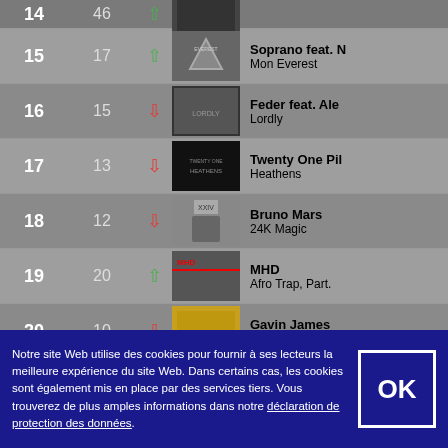| # | Weeks | Trend | Art | Artist / Song |
| --- | --- | --- | --- | --- |
| 14 | 46 | ↑ | [image] | — / — |
| 15 | 17 | ↑ | [image] | Soprano feat. N / Mon Everest |
| 16 | 15 | ↓ | [image] | Feder feat. Ale / Lordly |
| 17 | 13 | ↓ | [image] | Twenty One Pil / Heathens |
| 18 | 12 | ↓ | [image] | Bruno Mars / 24K Magic |
| 19 | 20 | ↑ | [image] | MHD / Afro Trap, Part. |
| 20 | 10 | ↓ | [image] | Gavin James / Nervous |
Notre site Web utilise des cookies pour fournir à ses lecteurs la meilleure expérience du site Web. Dans certains cas, les cookies sont également mis en place par des services tiers. Vous trouverez de plus amples informations dans notre déclaration de protection des données.